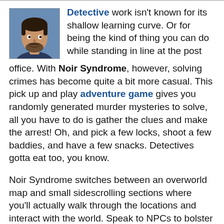[Figure (photo): Small avatar photo of a man with dark hair and beard, smiling, against a blue background]
Detective work isn't known for its shallow learning curve. Or for being the kind of thing you can do while standing in line at the post office. With Noir Syndrome, however, solving crimes has become quite a bit more casual. This pick up and play adventure game gives you randomly generated murder mysteries to solve, all you have to do is gather the clues and make the arrest! Oh, and pick a few locks, shoot a few baddies, and have a few snacks. Detectives gotta eat too, you know.
Noir Syndrome switches between an overworld map and small sidescrolling sections where you'll actually walk through the locations and interact with the world. Speak to NPCs to bolster your list of suspects, head back to the map and check out any new murders that may have occurred. You only have two weeks to solve the crime, and each time you enter a building it ticks off one day. When you've pieced together enough